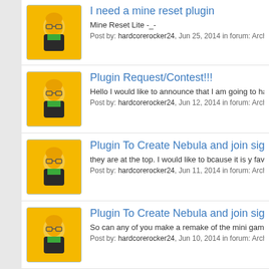I need a mine reset plugin | Mine Reset Lite -_- | Post by: hardcorerocker24, Jun 25, 2014 in forum: Archived: Plugin Requ
Plugin Request/Contest!!! | Hello I would like to announce that I am going to have a plugin building c... | Post by: hardcorerocker24, Jun 12, 2014 in forum: Archived: Plugin Requ
Plugin To Create Nebula and join signs | they are at the top. I would like to bcause it is y favorite minigame of all ti... | Post by: hardcorerocker24, Jun 11, 2014 in forum: Archived: Plugin Requ
Plugin To Create Nebula and join signs | So can any of you make a remake of the mini game NEBULA not nexus i... | Post by: hardcorerocker24, Jun 10, 2014 in forum: Archived: Plugin Requ
Plugin To Create Nebula and join signs | Ok Sorry about that, The game goes where there are two teams and a m... | Post by: hardcorerocker24, Jun 10, 2014 in forum: Archived: Plugin Requ
Plugin To Create Nebula and join signs | Plugin-t... | Post by: hardcorerocker24, Jun ? in forum: Archived: Plugin Requ